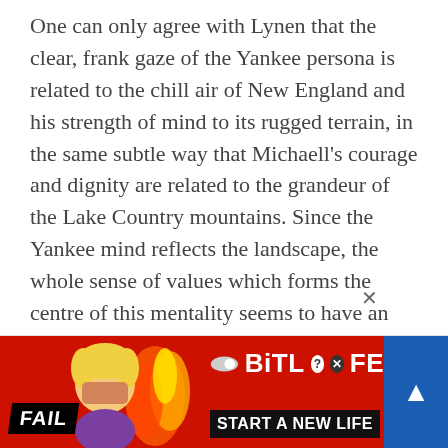One can only agree with Lynen that the clear, frank gaze of the Yankee persona is related to the chill air of New England and his strength of mind to its rugged terrain, in the same subtle way that Michaell's courage and dignity are related to the grandeur of the Lake Country mountains. Since the Yankee mind reflects the landscape, the whole sense of values which forms the centre of this mentality seems to have an organic relation to the land. The greatness of Frost's regionalism lies in the fact that he crosses the frontiers of regionalism and makes it universal in its appeal.
[Figure (infographic): Advertisement banner for BitLife mobile game with red/fire background, cartoon character, FAIL badge, and 'START A NEW LIFE' text with BitLife logo]